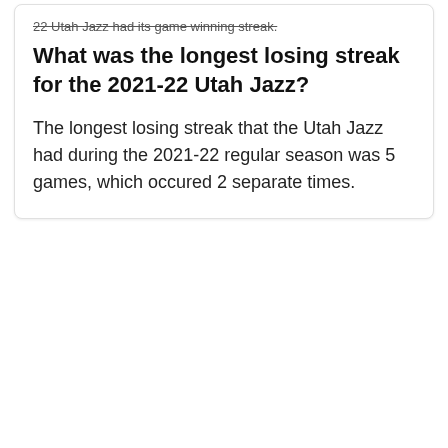22 Utah Jazz had its game winning streak.
What was the longest losing streak for the 2021-22 Utah Jazz?
The longest losing streak that the Utah Jazz had during the 2021-22 regular season was 5 games, which occured 2 separate times.